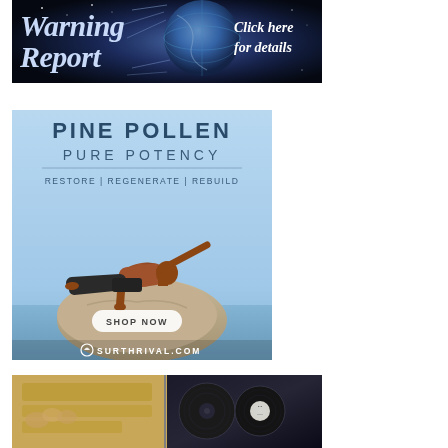[Figure (illustration): Dark/space themed banner advertisement showing globe/earth imagery with text 'Warning Report' on left side and 'Click here for details' on right side in white italic text.]
[Figure (photo): Pine Pollen supplement advertisement with light blue background. Text reads 'PINE POLLEN PURE POTENCY RESTORE | REGENERATE | REBUILD'. Shows muscular athletic man doing a one-arm balance pose on a rock by the ocean. Button reads 'SHOP NOW'. Bottom text shows 'SURTHRIVAL.COM' logo.]
[Figure (photo): Partial view of a bottom banner advertisement showing what appears to be money/currency on the left half and dark circular objects (possibly vinyl records or coins) on the right half.]